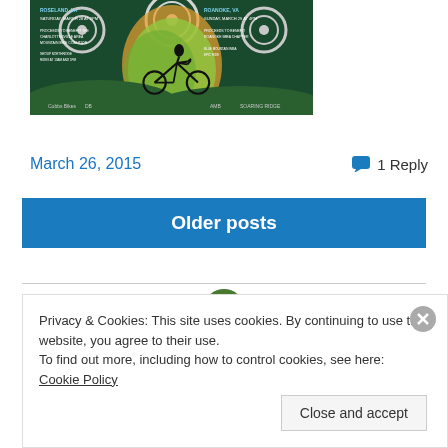[Figure (illustration): Mountain bike event poster showing a cyclist silhouette, gear/cog design elements, colorful abstract background with green and orange. Text mentions Roseland VA, Roanoke VA, March dates, proceeds to benefit mountain bike coalitions.]
March 26, 2015
1 Reply
Older posts
Privacy & Cookies: This site uses cookies. By continuing to use this website, you agree to their use.
To find out more, including how to control cookies, see here: Cookie Policy
Close and accept